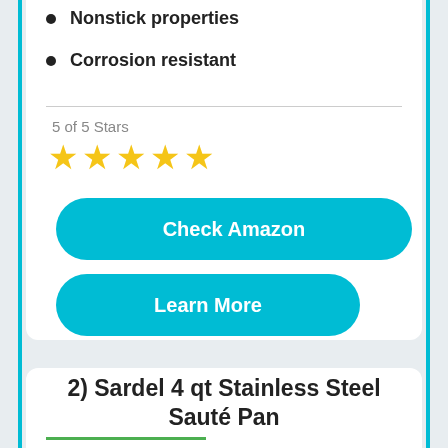Nonstick properties
Corrosion resistant
5 of 5 Stars
[Figure (other): Five gold star rating icons]
Check Amazon
Learn More
2) Sardel 4 qt Stainless Steel Sauté Pan